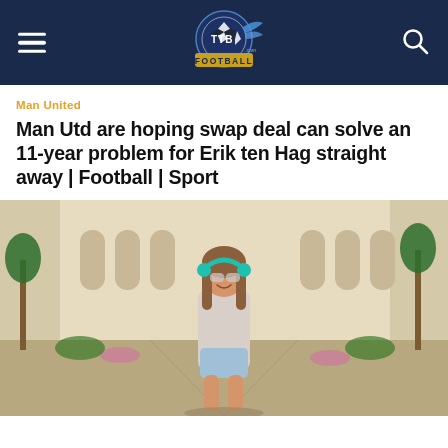TTB Football — navigation header with hamburger menu, logo, and search icon
Man United
Man Utd are hoping swap deal can solve an 11-year problem for Erik ten Hag straight away | Football | Sport
[Figure (photo): Young woman with teal headphones and sunglasses smiling, walking in an outdoor resort/hotel corridor with palm trees and flowers, wearing a white tank top and denim shorts]